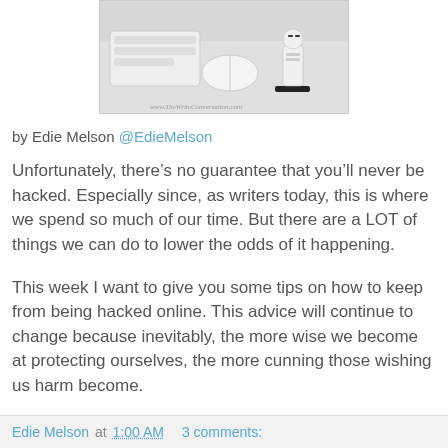[Figure (photo): Photo of a stormtrooper figurine next to a white Apple keyboard and mouse on a white desk. Watermark reads www.TheWriteConversation.com]
by Edie Melson @EdieMelson
Unfortunately, there’s no guarantee that you’ll never be hacked. Especially since, as writers today, this is where we spend so much of our time. But there are a LOT of things we can do to lower the odds of it happening.
This week I want to give you some tips on how to keep from being hacked online. This advice will continue to change because inevitably, the more wise we become at protecting ourselves, the more cunning those wishing us harm become.
Edie Melson at 1:00 AM   3 comments: